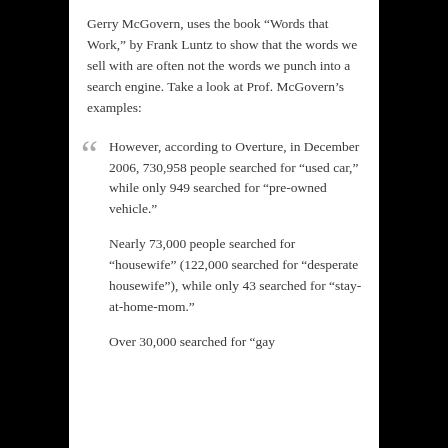Gerry McGovern, uses the book “Words that Work,” by Frank Luntz to show that the words we sell with are often not the words we punch into a search engine. Take a look at Prof. McGovern’s examples:
However, according to Overture, in December 2006, 730,958 people searched for “used car,” while only 949 searched for “pre-owned vehicle.”
Nearly 73,000 people searched for “housewife” (122,000 searched for “desperate housewife”), while only 43 searched for “stay-at-home-mom.”
Over 30,000 searched for “gay